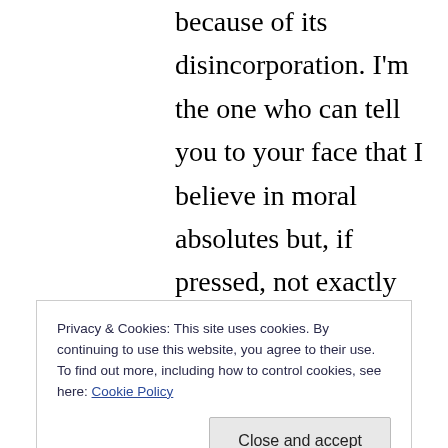because of its disincorporation. I'm the one who can tell you to your face that I believe in moral absolutes but, if pressed, not exactly what those absolutes are. I'm the one who wakes up each morning and erases, deletes, minimizes, revises, and swipes away. I'm the one who powers down and creates new tabs and undoes typing and closes out to dashboard. I'm the one who changes the channel, hits mute, closes my eyes, plugs my ears. I'm
Privacy & Cookies: This site uses cookies. By continuing to use this website, you agree to their use.
To find out more, including how to control cookies, see here: Cookie Policy
one who rips all my fucking cables and